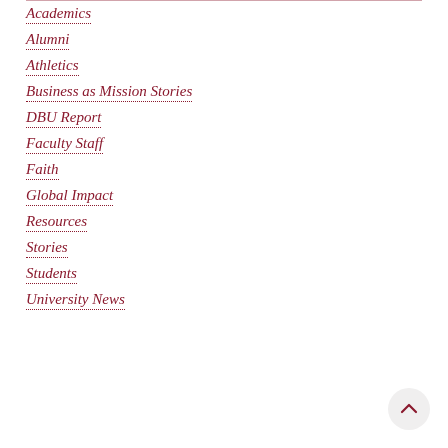Academics
Alumni
Athletics
Business as Mission Stories
DBU Report
Faculty Staff
Faith
Global Impact
Resources
Stories
Students
University News